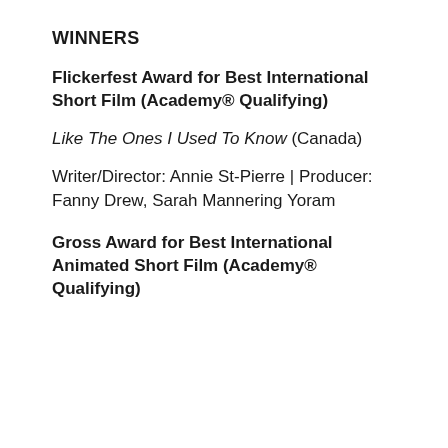WINNERS
Flickerfest Award for Best International Short Film (Academy® Qualifying)
Like The Ones I Used To Know (Canada)
Writer/Director: Annie St-Pierre | Producer: Fanny Drew, Sarah Mannering Yoram
Gross Award for Best International Animated Short Film (Academy® Qualifying)